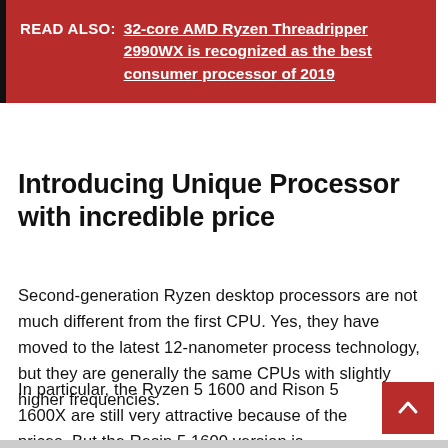READ ALSO: 32-core AMD Ryzen Threadripper 2990WX is recognized as the best consumer processor of 2019
Introducing Unique Processor with incredible price
Second-generation Ryzen desktop processors are not much different from the first CPU. Yes, they have moved to the latest 12-nanometer process technology, but they are generally the same CPUs with slightly higher frequencies.
In particular, the Ryzen 5 1600 and Rison 5 1600X are still very attractive because of the prices. But the Resin 5 1600 version is particularly intriguing.